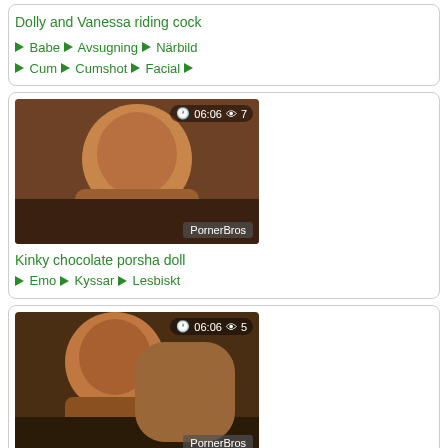Dolly and Vanessa riding cock
Babe  Avsugning  Närbild  Cum  Cumshot  Facial
[Figure (photo): Video thumbnail showing a person, duration 06:06, 7 views, watermark PornerBros]
Kinky chocolate porsha doll
Emo  Kyssar  Lesbiskt
[Figure (photo): Video thumbnail showing a person, duration 06:06, 5 views, watermark PornerBros]
Kinky damm sexy chocolate